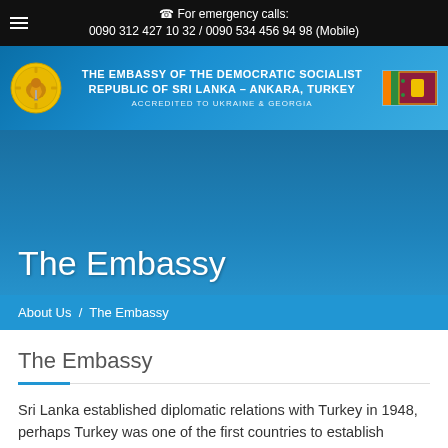For emergency calls: 0090 312 427 10 32 / 0090 534 456 94 98 (Mobile)
[Figure (logo): Embassy of Sri Lanka header banner with Sri Lanka coat of arms on left, embassy name in center, Sri Lankan flag on right. Text: THE EMBASSY OF THE DEMOCRATIC SOCIALIST REPUBLIC OF SRI LANKA - ANKARA, TURKEY ACCREDITED TO UKRAINE & GEORGIA]
The Embassy
About Us / The Embassy
The Embassy
Sri Lanka established diplomatic relations with Turkey in 1948, perhaps Turkey was one of the first countries to establish